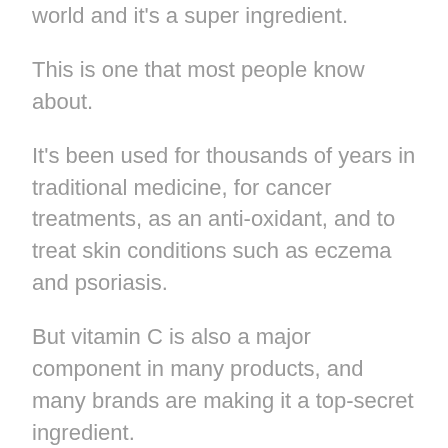world and it's a super ingredient.
This is one that most people know about.
It's been used for thousands of years in traditional medicine, for cancer treatments, as an anti-oxidant, and to treat skin conditions such as eczema and psoriasis.
But vitamin C is also a major component in many products, and many brands are making it a top-secret ingredient.
These products include some of the biggest brands in the US, such Asos, H&M, MAC, and Neiman Marcus.2.
Zinc is another mineral, and it plays a crucial role in our bodies.
Zs are found in fruits, vegetables, nuts, and even a small